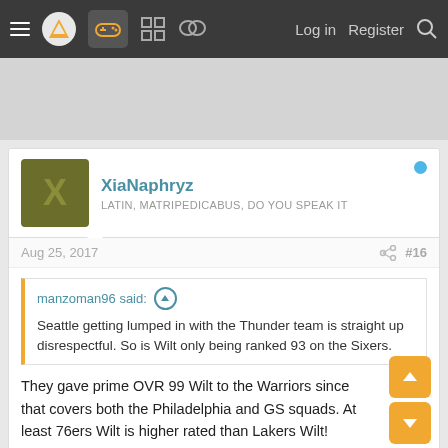≡ [logo] [gamepad] [grid] [chat]   Log in   Register   🔍
[Figure (screenshot): Gray advertisement area placeholder]
XiaNaphryz
LATIN, MATRIPEDICABUS, DO YOU SPEAK IT
Aug 25, 2017   #16
manzoman96 said: ↑
Seattle getting lumped in with the Thunder team is straight up disrespectful. So is Wilt only being ranked 93 on the Sixers.
They gave prime OVR 99 Wilt to the Warriors since that covers both the Philadelphia and GS squads. At least 76ers Wilt is higher rated than Lakers Wilt!